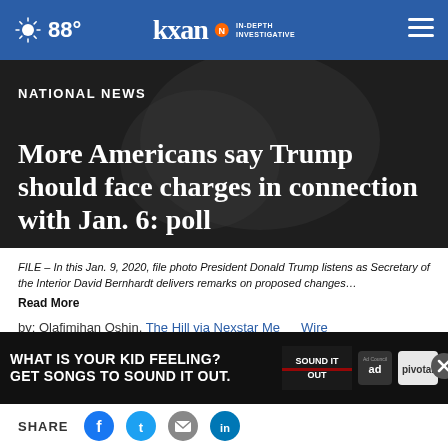88° kxan IN-DEPTH INVESTIGATIVE
NATIONAL NEWS
More Americans say Trump should face charges in connection with Jan. 6: poll
FILE – In this Jan. 9, 2020, file photo President Donald Trump listens as Secretary of the Interior David Bernhardt delivers remarks on proposed changes… Read More
by: Olafimihan Oshin, The Hill via Nexstar Media Wire
Posted: Jun 19, 2022 / 02:34 PM CDT
Updated:
[Figure (screenshot): Advertisement overlay: WHAT IS YOUR KID FEELING? GET SONGS TO SOUND IT OUT. Sound It Out ad from Ad Council and Pivotal]
SHARE